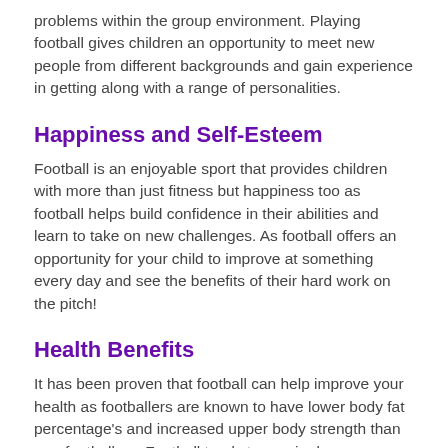problems within the group environment. Playing football gives children an opportunity to meet new people from different backgrounds and gain experience in getting along with a range of personalities.
Happiness and Self-Esteem
Football is an enjoyable sport that provides children with more than just fitness but happiness too as football helps build confidence in their abilities and learn to take on new challenges. As football offers an opportunity for your child to improve at something every day and see the benefits of their hard work on the pitch!
Health Benefits
It has been proven that football can help improve your health as footballers are known to have lower body fat percentage's and increased upper body strength than non-footballers. Football tends to require less equipment such as boots and bibs, which means the cost of playing